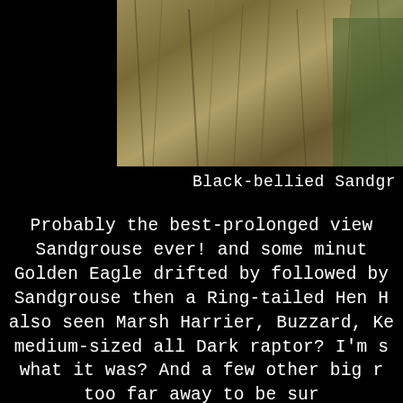[Figure (photo): Close-up photograph of dry grass/straw vegetation with some green plants, partially cropped, on black background]
Black-bellied Sandgr
Probably the best-prolonged view of Sandgrouse ever! and some minut... Golden Eagle drifted by followed by Sandgrouse then a Ring-tailed Hen H... also seen Marsh Harrier, Buzzard, Ke... medium-sized all Dark raptor? I'm s... what it was? And a few other big r... too far away to be sur...